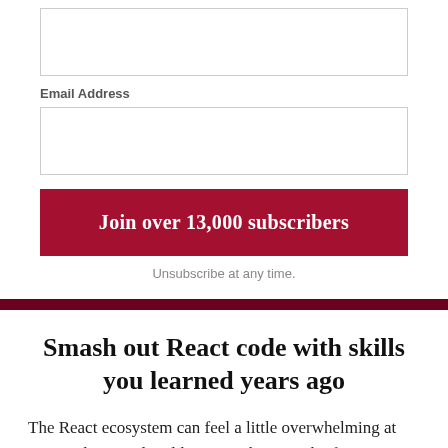[Figure (screenshot): Empty text input box for a form field (top, unlabeled)]
Email Address
[Figure (screenshot): Empty text input box for email address field]
Join over 13,000 subscribers
Unsubscribe at any time.
Smash out React code with skills you learned years ago
The React ecosystem can feel a little overwhelming at times. The countless libraries to keep track of